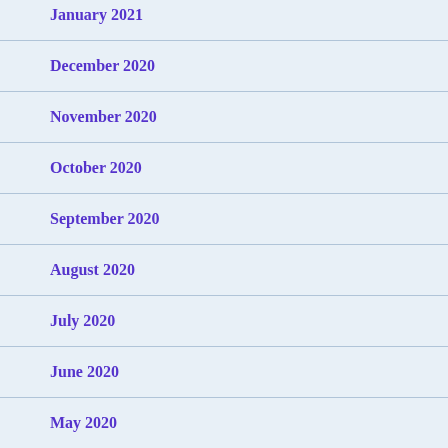January 2021
December 2020
November 2020
October 2020
September 2020
August 2020
July 2020
June 2020
May 2020